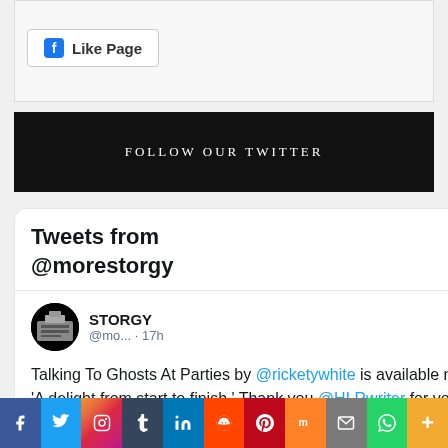[Figure (screenshot): Facebook Like Page button in a light grey bar]
FOLLOW OUR TWITTER
Tweets from @morestorgy
STORGY @mo... · 17h
Talking To Ghosts At Parties by @ricketywhite is available now. 'A delight from start to finish.' Thank you @HLRwriter for your
[Figure (screenshot): Social share bar with icons: Facebook, Twitter, Instagram, Tumblr, LinkedIn, Reddit, Pinterest, Mix, Email, WhatsApp, More]